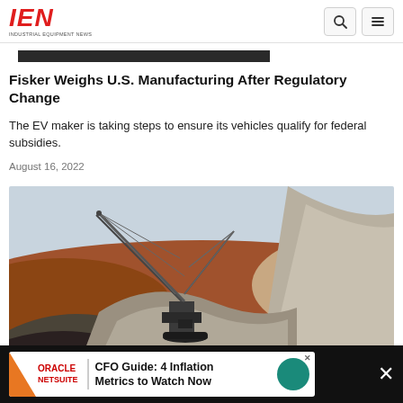IEN — Industrial Equipment News
Fisker Weighs U.S. Manufacturing After Regulatory Change
The EV maker is taking steps to ensure its vehicles qualify for federal subsidies.
August 16, 2022
[Figure (photo): Mining site with large crane/dragline excavator operating amid mounds of earth and rock, with reddish-brown hills in the background under a pale sky.]
[Figure (other): Oracle NetSuite advertisement banner: CFO Guide: 4 Inflation Metrics to Watch Now]